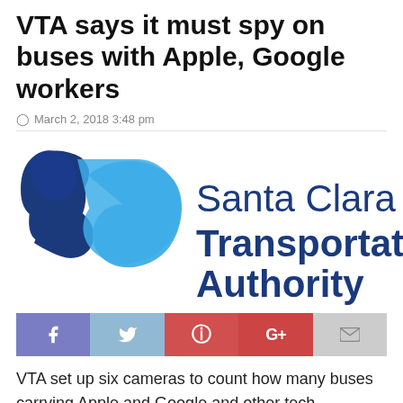VTA says it must spy on buses with Apple, Google workers
March 2, 2018 3:48 pm
[Figure (logo): Santa Clara Valley Transportation Authority (VTA) logo with stylized blue arrow/person icon and text 'Santa Clara Valley Transportation Authority']
[Figure (infographic): Social sharing bar with Facebook, Twitter, Pinterest, Google+, and Email buttons]
VTA set up six cameras to count how many buses carrying Apple and Google and other tech employees are using its roads after the companies refused to